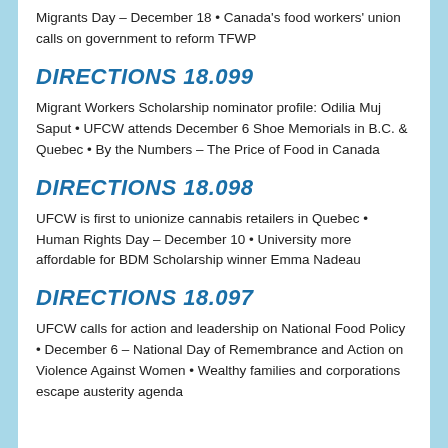Migrants Day – December 18 • Canada's food workers' union calls on government to reform TFWP
DIRECTIONS 18.099
Migrant Workers Scholarship nominator profile: Odilia Muj Saput • UFCW attends December 6 Shoe Memorials in B.C. & Quebec • By the Numbers – The Price of Food in Canada
DIRECTIONS 18.098
UFCW is first to unionize cannabis retailers in Quebec • Human Rights Day – December 10 • University more affordable for BDM Scholarship winner Emma Nadeau
DIRECTIONS 18.097
UFCW calls for action and leadership on National Food Policy • December 6 – National Day of Remembrance and Action on Violence Against Women • Wealthy families and corporations escape austerity agenda